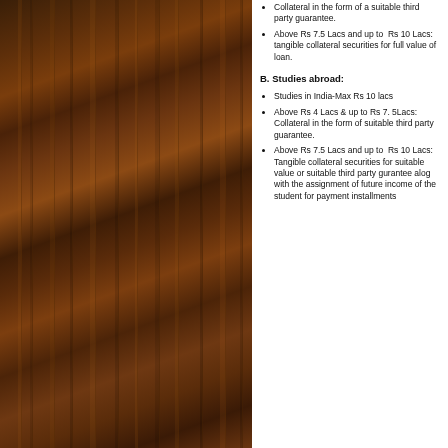Collateral in the form of a suitable third party guarantee.
Above Rs 7.5 Lacs and up to Rs 10 Lacs: tangible collateral securities for full value of loan.
B. Studies abroad:
Studies in India-Max Rs 10 lacs
Above Rs 4 Lacs & up to Rs 7. 5Lacs: Collateral in the form of suitable third party guarantee.
Above Rs 7.5 Lacs and up to Rs 10 Lacs: Tangible collateral securities for suitable value or suitable third party gurantee alog with the assignment of future income of the student for payment installments